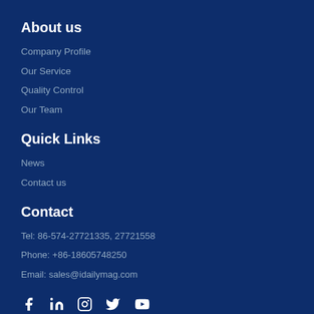About us
Company Profile
Our Service
Quality Control
Our Team
Quick Links
News
Contact us
Contact
Tel: 86-574-27721335, 27721558
Phone: +86-18605748250
Email: sales@idailymag.com
[Figure (infographic): Social media icons row: Facebook, LinkedIn, Instagram, Twitter, YouTube]